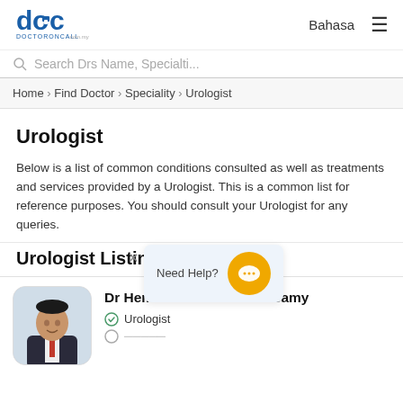[Figure (logo): DoctorOnCall logo — blue 'doc' text with lock icon and 'DOCTORONCALL' text below]
Bahasa  ☰
Search Drs Name, Specialti...
Home › Find Doctor › Speciality › Urologist
Urologist
Below is a list of common conditions consulted as well as treatments and services provided by a Urologist. This is a common list for reference purposes. You should consult your Urologist for any queries.
Urologist Listing
Need Help?
Dr Hemanth Kumar Ramasamy
Urologist
[Figure (photo): Photo of Dr Hemanth Kumar Ramasamy in a suit]